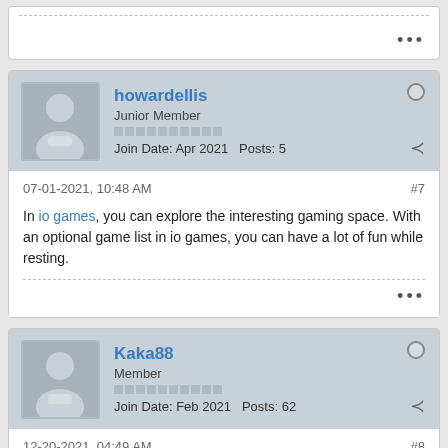[Figure (other): Top stub of a previous post with dashed top border and three dots menu]
[Figure (other): User profile header for howardellis - Junior Member, Join Date Apr 2021, Posts 5]
07-01-2021, 10:48 AM
#7
In io games, you can explore the interesting gaming space. With an optional game list in io games, you can have a lot of fun while resting.
[Figure (other): User profile header for Kaka88 - Member, Join Date Feb 2021, Posts 62]
12-20-2021, 04:49 AM
#8